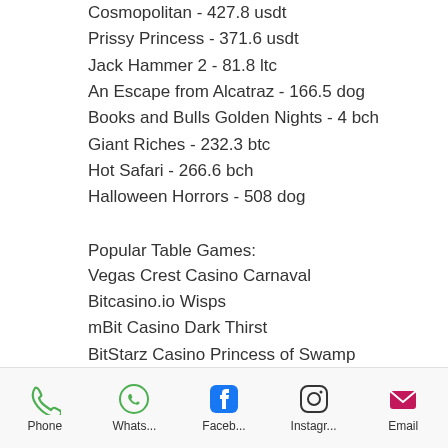Cosmopolitan - 427.8 usdt
Prissy Princess - 371.6 usdt
Jack Hammer 2 - 81.8 ltc
An Escape from Alcatraz - 166.5 dog
Books and Bulls Golden Nights - 4 bch
Giant Riches - 232.3 btc
Hot Safari - 266.6 bch
Halloween Horrors - 508 dog
Popular Table Games:
Vegas Crest Casino Carnaval
Bitcasino.io Wisps
mBit Casino Dark Thirst
BitStarz Casino Princess of Swamp
https://www.jmartmanagement.com/profile/merrilldurdy13713439/profile
https://www.ecmsffo.org/profile/charlieaciern
Phone | Whats... | Faceb... | Instagr... | Email